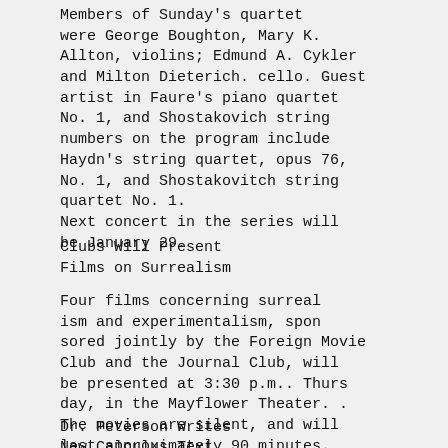Members of Sunday's quartet were George Boughton, Mary K. Allton, violins; Edmund A. Cykler and Milton Dieterich. cello. Guest artist in Faure's piano quartet No. 1, and Shostakovich string numbers on the program include Haydn's string quartet, opus 76, No. 1, and Shostakovitch string quartet No. 1.
Next concert in the series will be January 29.
Clubs Will Present
Films on Surrealism
Four films concerning surrealism and experimentalism, sponsored jointly by the Foreign Movie Club and the Journal Club, will be presented at 3:30 p.m.. Thursday, in the Mayflower Theater. . The movies are silent, and will last approximately 90 minutes. Admission price is 25 cents.
Dr. Peterson Writes
New Calculus Text